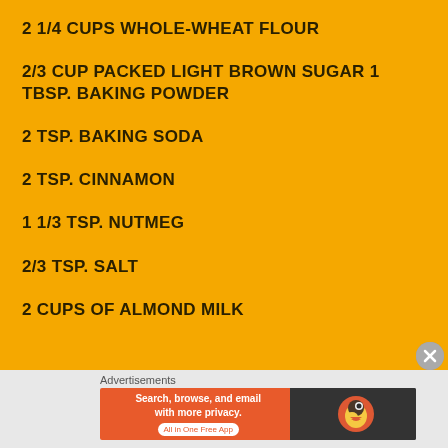2 1/4 CUPS WHOLE-WHEAT FLOUR
2/3 CUP PACKED LIGHT BROWN SUGAR 1 TBSP. BAKING POWDER
2 TSP. BAKING SODA
2 TSP. CINNAMON
1 1/3 TSP. NUTMEG
2/3 TSP. SALT
2 CUPS OF ALMOND MILK
Advertisements
[Figure (screenshot): DuckDuckGo advertisement banner: 'Search, browse, and email with more privacy. All in One Free App' with DuckDuckGo logo on right side.]